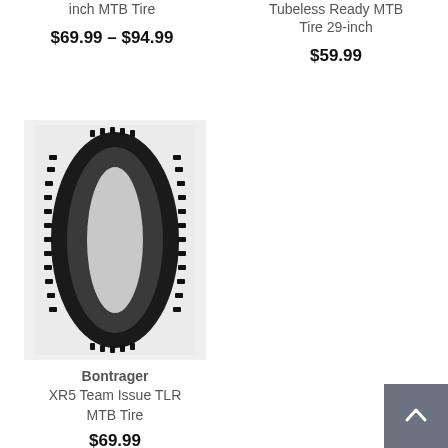inch MTB Tire
Tubeless Ready MTB Tire 29-inch
$69.99 – $94.99
$59.99
[Figure (photo): Bontrager XR5 Team Issue TLR MTB Tire product photo showing a black knobby mountain bike tire standing upright on a light gray background]
Bontrager
XR5 Team Issue TLR MTB Tire
$69.99